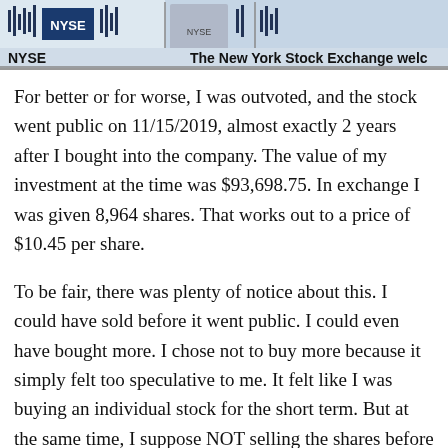[Figure (photo): NYSE (New York Stock Exchange) banner image showing NYSE logo on left and text 'The New York Stock Exchange welc' on right, with decorative stock ticker/trading floor imagery]
For better or for worse, I was outvoted, and the stock went public on 11/15/2019, almost exactly 2 years after I bought into the company. The value of my investment at the time was $93,698.75. In exchange I was given 8,964 shares. That works out to a price of $10.45 per share.
To be fair, there was plenty of notice about this. I could have sold before it went public. I could even have bought more. I chose not to buy more because it simply felt too speculative to me. It felt like I was buying an individual stock for the short term. But at the same time, I suppose NOT selling the shares before it went public was also a speculative move. Every investor had to decide how they felt about this. Another experienced long-term investor